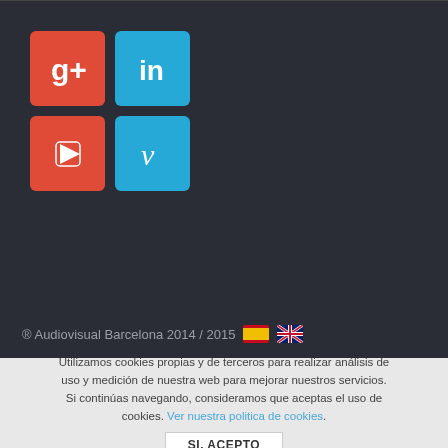[Figure (screenshot): Social media icons: Google+, LinkedIn, YouTube, Vimeo on dark background]
® Audiovisual Barcelona 2014 / 2015 [Spanish flag] [UK flag]
Utilizamos cookies propias y de terceros para realizar análisis de uso y medición de nuestra web para mejorar nuestros servicios. Si continúas navegando, consideramos que aceptas el uso de cookies. Ver nuestra politica de cookies.
SI, ACEPTO